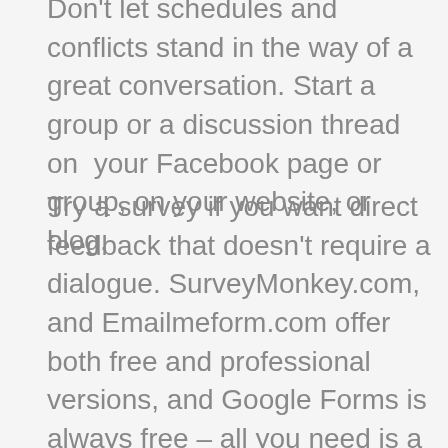Don't let schedules and conflicts stand in the way of a great conversation. Start a group or a discussion thread on  your Facebook page or group, on your website, or blog.
Try a survey if you want direct feedback that doesn't require a dialogue. SurveyMonkey.com, and Emailmeform.com offer both free and professional versions, and Google Forms is always free – all you need is a Gmail account. You can create awesome reports by exporting the results to various file formats.